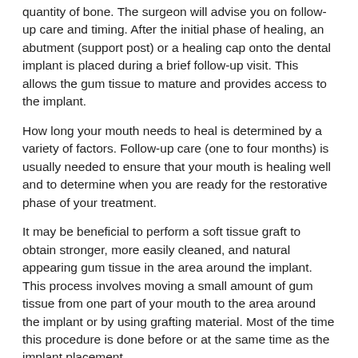quantity of bone. The surgeon will advise you on follow-up care and timing. After the initial phase of healing, an abutment (support post) or a healing cap onto the dental implant is placed during a brief follow-up visit. This allows the gum tissue to mature and provides access to the implant.
How long your mouth needs to heal is determined by a variety of factors. Follow-up care (one to four months) is usually needed to ensure that your mouth is healing well and to determine when you are ready for the restorative phase of your treatment.
It may be beneficial to perform a soft tissue graft to obtain stronger, more easily cleaned, and natural appearing gum tissue in the area around the implant. This process involves moving a small amount of gum tissue from one part of your mouth to the area around the implant or by using grafting material. Most of the time this procedure is done before or at the same time as the implant placement.
Once the surgeon releases you when healing is complete you will then return to our office where we will complete the restoration that fits on top of the dental implant.